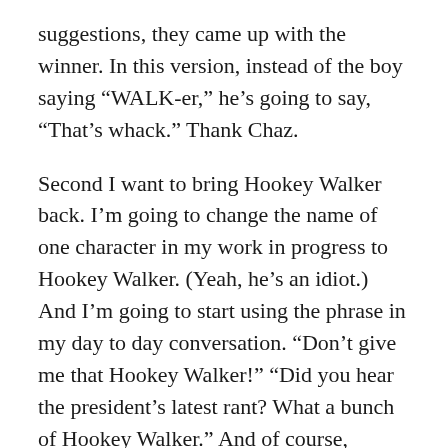suggestions, they came up with the winner. In this version, instead of the boy saying “WALK-er,” he’s going to say, “That’s whack.” Thank Chaz.
Second I want to bring Hookey Walker back. I’m going to change the name of one character in my work in progress to Hookey Walker. (Yeah, he’s an idiot.) And I’m going to start using the phrase in my day to day conversation. “Don’t give me that Hookey Walker!” “Did you hear the president’s latest rant? What a bunch of Hookey Walker.” And of course, “WALK-er.”
I also need a T-shirt, which will soon be available online, saying “Bring Back Hookey Walker.” And if anyone asks, “Who’s Hookey Walker?” I will be happy to explain.